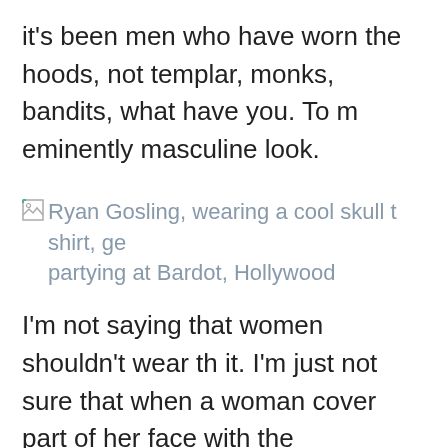it's been men who have worn the hoods, not templar, monks, bandits, what have you. To me eminently masculine look.
[Figure (photo): Broken image placeholder with alt text: Ryan Gosling, wearing a cool skull t shirt, ge partying at Bardot, Hollywood]
I'm not saying that women shouldn't wear th it. I'm just not sure that when a woman cover part of her face with the "masculine" covering looks particularly sexy. To me, it is more of a c